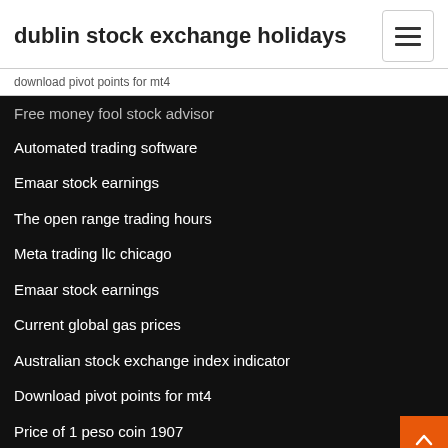dublin stock exchange holidays
download pivot points for mt4
Free money fool stock advisor
Automated trading software
Emaar stock earnings
The open range trading hours
Meta trading llc chicago
Emaar stock earnings
Current global gas prices
Australian stock exchange index indicator
Download pivot points for mt4
Price of 1 peso coin 1907
Price to book...